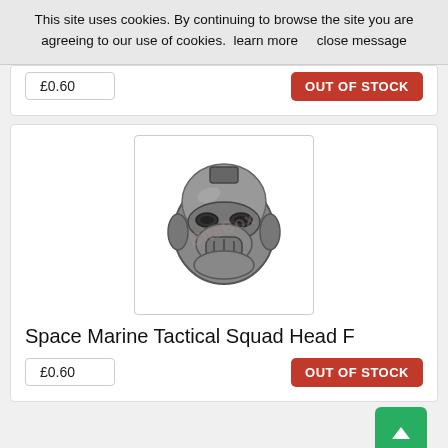This site uses cookies. By continuing to browse the site you are agreeing to our use of cookies.  learn more      close message
£0.60
OUT OF STOCK
[Figure (photo): Space Marine Tactical Squad head F miniature — a grey metallic skull-like helmet with mechanical details, photographed against white background with watermark overlay.]
Space Marine Tactical Squad Head F
£0.60
OUT OF STOCK